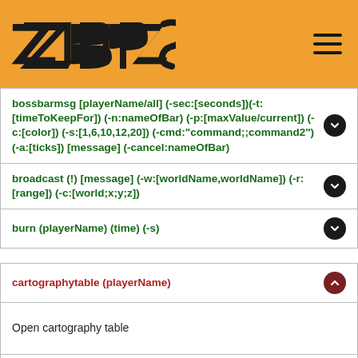ZBPS
bossbarmsg [playerName/all] (-sec:[seconds])(-t:[timeToKeepFor]) (-n:nameOfBar) (-p:[maxValue/current]) (-c:[color]) (-s:[1,6,10,12,20]) (-cmd:"command;;command2") (-a:[ticks]) [message] (-cancel:nameOfBar)
broadcast (!) [message] (-w:[worldName,worldName]) (-r:[range]) (-c:[world;x;y;z])
burn (playerName) (time) (-s)
cartographytable (playerName)
Open cartography table
charges [playerName] [add/set/take/clear/reset] (-f)
chat [create/join/leave/list/invite/kick/listrooms] (chatName/playerName) (-private) (-locked) (-persistent)